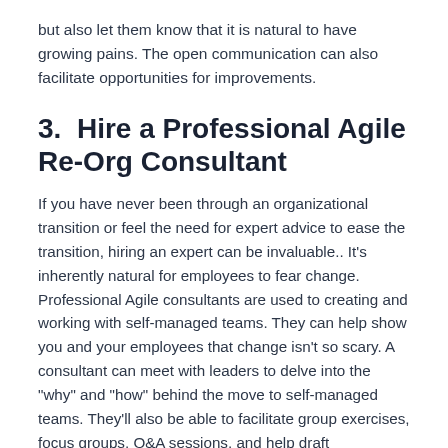but also let them know that it is natural to have growing pains. The open communication can also facilitate opportunities for improvements.
3.  Hire a Professional Agile Re-Org Consultant
If you have never been through an organizational transition or feel the need for expert advice to ease the transition, hiring an expert can be invaluable.. It’s inherently natural for employees to fear change. Professional Agile consultants are used to creating and working with self-managed teams. They can help show you and your employees that change isn’t so scary. A consultant can meet with leaders to delve into the “why” and “how” behind the move to self-managed teams. They’ll also be able to facilitate group exercises, focus groups, Q&A sessions, and help draft communications providing a path forward that works for your organization.